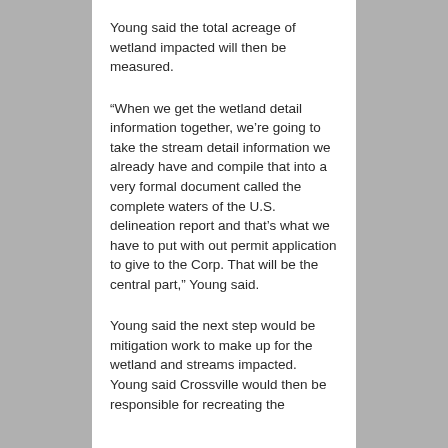Young said the total acreage of wetland impacted will then be measured.
“When we get the wetland detail information together, we’re going to take the stream detail information we already have and compile that into a very formal document called the complete waters of the U.S. delineation report and that’s what we have to put with out permit application to give to the Corp. That will be the central part,” Young said.
Young said the next step would be mitigation work to make up for the wetland and streams impacted. Young said Crossville would then be responsible for recreating the